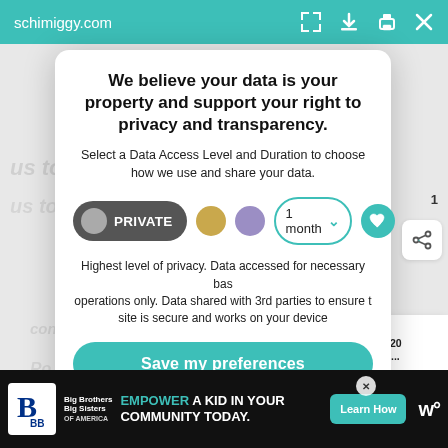schimiggy.com
We believe your data is your property and support your right to privacy and transparency.
Select a Data Access Level and Duration to choose how we use and share your data.
PRIVATE | 1 month
Highest level of privacy. Data accessed for necessary basic operations only. Data shared with 3rd parties to ensure the site is secure and works on your device
Save my preferences
WHAT'S NEXT → ROTHY'S $20 off Coupon...
[Figure (screenshot): Bottom advertisement bar: Big Brothers Big Sisters logo, EMPOWER A KID IN YOUR COMMUNITY TODAY text, Learn How button]